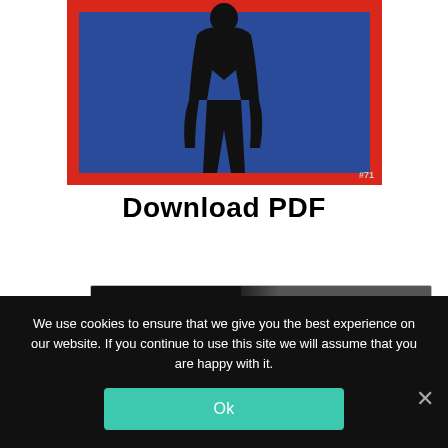[Figure (illustration): A stylized poster/cover image with a red border frame, blue background, and a dark silhouette of a person. Number #71 visible in lower right corner.]
Download PDF
[Figure (logo): News Now banner: 'AS FEATURED ON NEWS NOW' on black background on the left, arrow divider in middle, 'Football News 24/7' text on grey background on the right.]
We use cookies to ensure that we give you the best experience on our website. If you continue to use this site we will assume that you are happy with it.
Ok